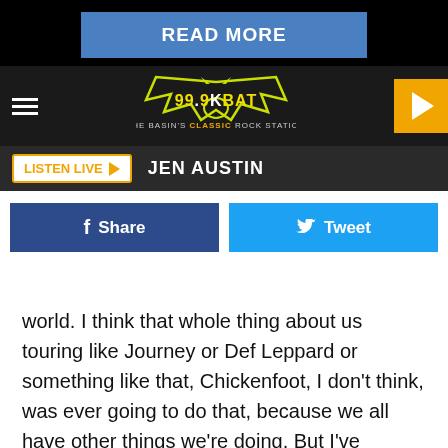[Figure (screenshot): READ MORE blue button on black background]
[Figure (logo): 99.9 KBAT The Basin's Classic Rock Station logo with bat graphic on dark navbar, hamburger menu on left, orange play button on right]
[Figure (screenshot): Listen Live button with orange border and JEN AUSTIN text on dark bar]
[Figure (screenshot): Facebook Share button and Twitter Tweet button]
world. I think that whole thing about us touring like Journey or Def Leppard or something like that, Chickenfoot, I don't think, was ever going to do that, because we all have other things we're doing. But I've learned to love it."
After issuing their self-titled debut in 2009 and returning with Chickenfoot III in 2011, the band has remained mostly inactive as the members all focused on their other projects. But the group did offer a Best + Live album last year. Stay